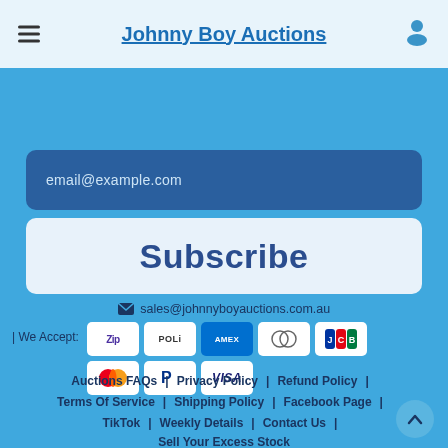Johnny Boy Auctions
email@example.com
Subscribe
✉ sales@johnnyboyauctions.com.au
| We Accept: [Zip] [POLi] [AMEX] [Diners Club] [JCB] [Mastercard] [PayPal] [VISA]
Auctions FAQs | Privacy Policy | Refund Policy
Terms Of Service | Shipping Policy | Facebook Page
TikTok | Weekly Details | Contact Us
Sell Your Excess Stock